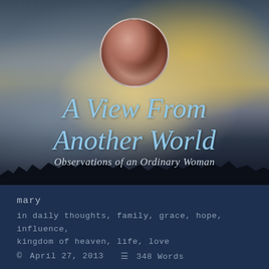[Figure (photo): Blog header banner with dramatic cloudy sky at sunset/dusk, warm golden and cool blue tones, dark tree silhouettes at bottom, circular profile photo of a woman with dark reddish-brown hair centered at top]
A View From Another World
Observations of an Ordinary Woman
mary
in daily thoughts, family, grace, hope, influence, kingdom of heaven, life, love
© April 27, 2013   348 Words